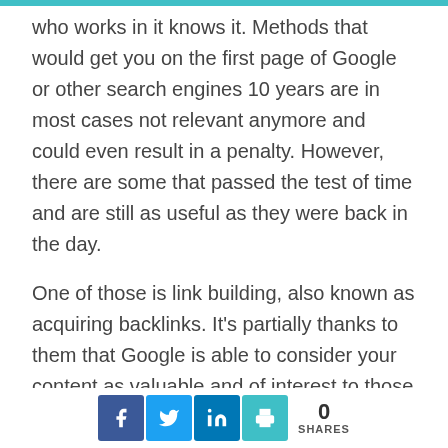who works in it knows it. Methods that would get you on the first page of Google or other search engines 10 years are in most cases not relevant anymore and could even result in a penalty. However, there are some that passed the test of time and are still as useful as they were back in the day.
One of those is link building, also known as acquiring backlinks. It’s partially thanks to them that Google is able to consider your content as valuable and of interest to those who want to learn more about the subject area you specialize in, and in turn, place you in a higher position in the search results. However, you have to remember that not all backlinks are created equal, and in most cases, using the ‘quality
[Figure (infographic): Social share bar with Facebook, Twitter, LinkedIn, and print icons, showing 0 SHARES]